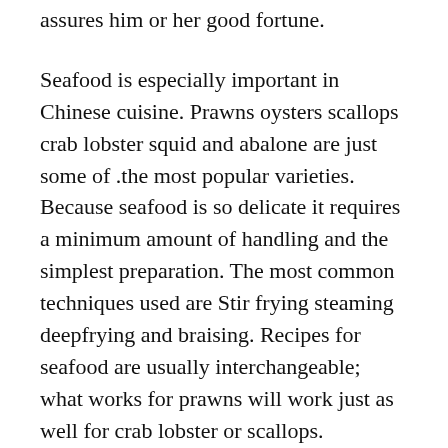assures him or her good fortune.
Seafood is especially important in Chinese cuisine. Prawns oysters scallops crab lobster squid and abalone are just some of .the most popular varieties. Because seafood is so delicate it requires a minimum amount of handling and the simplest preparation. The most common techniques used are Stir frying steaming deepfrying and braising. Recipes for seafood are usually interchangeable; what works for prawns will work just as well for crab lobster or scallops.
When fresh seafood is not available Chinese cooks make imaginative use of dried seafood as